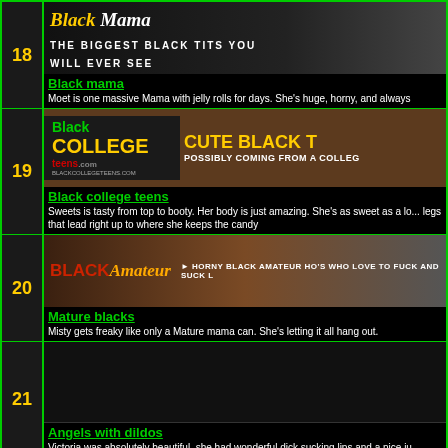| # | Content |
| --- | --- |
| 18 | Black mama | Moet is one massive Mama with jelly rolls for days. She's huge, horny, and always... |
| 19 | Black college teens | Sweets is tasty from top to booty. Her body is just amazing. She's as sweet as a lo... legs that lead right up to where she keeps the candy |
| 20 | Mature blacks | Misty gets freaky like only a Mature mama can. She's letting it all hang out. |
| 21 | Angels with dildos | Victoria was absolutely beautiful, she had wonderful dick sucking lips and a nice ju... |
| 22 | Make Your dreams come true! | You can be a Web Cam Performer in just a few minutes! Join us and make Your dr... |